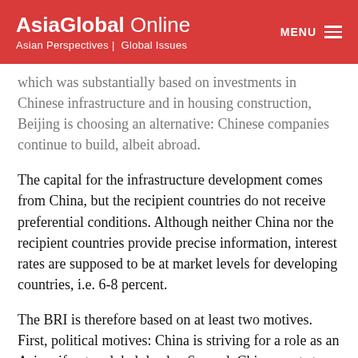AsiaGlobal Online — Asian Perspectives | Global Issues
which was substantially based on investments in Chinese infrastructure and in housing construction, Beijing is choosing an alternative: Chinese companies continue to build, albeit abroad.
The capital for the infrastructure development comes from China, but the recipient countries do not receive preferential conditions. Although neither China nor the recipient countries provide precise information, interest rates are supposed to be at market levels for developing countries, i.e. 6-8 percent.
The BRI is therefore based on at least two motives. First, political motives: China is striving for a role as an Asian, if not a global, leader. Second, China wants to